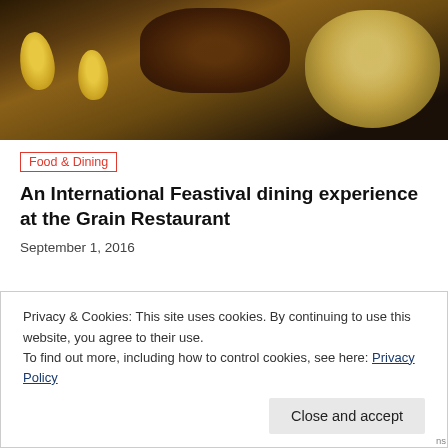[Figure (photo): Food photo showing corn on the cob, grilled meat, and a bowl of mashed or grain dish on a dark background]
Food & Dining
An International Feastival dining experience at the Grain Restaurant
September 1, 2016
Privacy & Cookies: This site uses cookies. By continuing to use this website, you agree to their use.
To find out more, including how to control cookies, see here: Privacy Policy
Close and accept